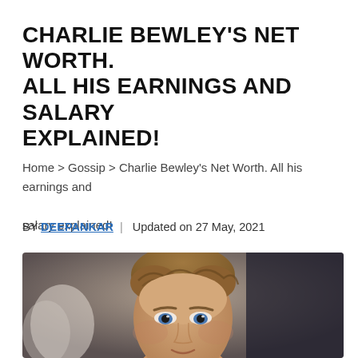CHARLIE BEWLEY'S NET WORTH. ALL HIS EARNINGS AND SALARY EXPLAINED!
Home > Gossip > Charlie Bewley's Net Worth. All his earnings and salary explained!
BY DEEPANKAR | Updated on 27 May, 2021
[Figure (photo): Close-up photo of Charlie Bewley, a young man with short brown hair and blue eyes, looking forward, at what appears to be a public event or premiere.]